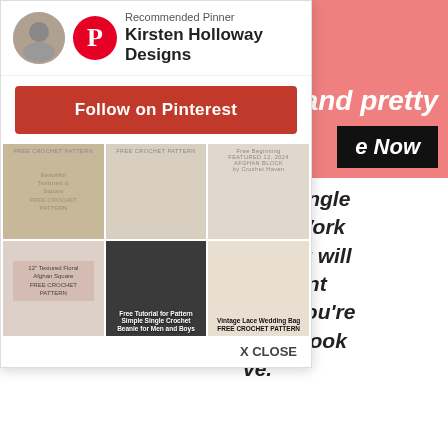[Figure (screenshot): Pink/salmon banner top right with italic bold text 'and pretty' and dark button 'e Now']
nter-single tion. Work titch. It will different nt. If you're k and look ve.
[Figure (screenshot): Pinterest follow overlay card showing Recommended Pinner Kirsten Holloway Designs with Follow on Pinterest button and a 3x2 grid of crochet pattern images, with X CLOSE button at bottom]